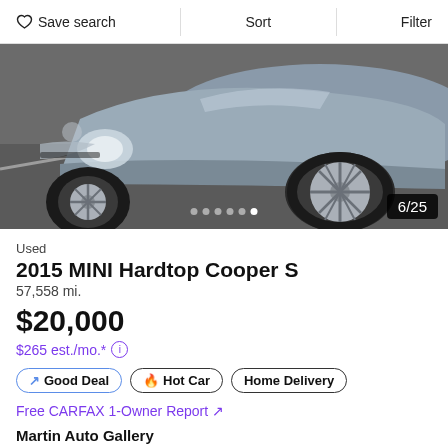Save search  Sort  Filter
[Figure (photo): Close-up photo of a gray 2015 MINI Hardtop Cooper S, showing the front wheel, headlight, and hood on a dark pavement surface. Image counter shows 6/25 with dot indicators.]
Used
2015 MINI Hardtop Cooper S
57,558 mi.
$20,000
$265 est./mo.* ⓘ
↗ Good Deal
🔥 Hot Car
Home Delivery
Free CARFAX 1-Owner Report ↗
Martin Auto Gallery